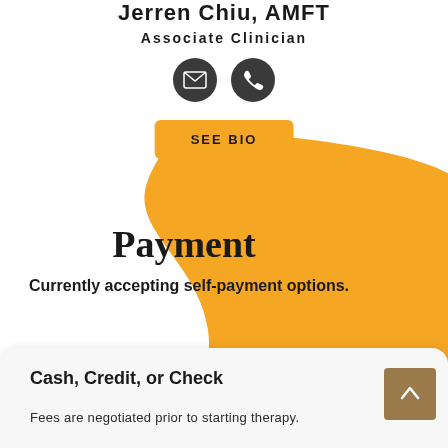Jerren Chiu, AMFT
Associate Clinician
[Figure (infographic): Two circular icon buttons: an envelope/email icon and a phone icon, both on dark grey circular backgrounds]
SEE BIO
[Figure (illustration): Large yellow/amber decorative blob shape extending from upper center to lower right of the page]
Payment
Currently accepting self-payment options.
Cash, Credit, or Check
Fees are negotiated prior to starting therapy.